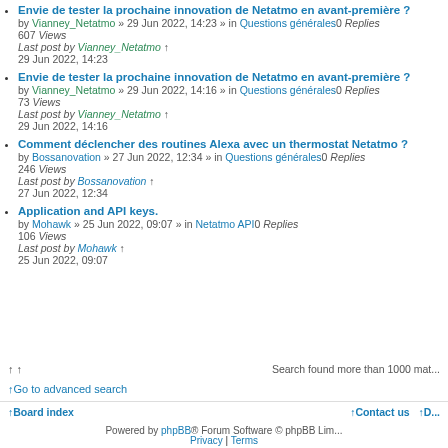Envie de tester la prochaine innovation de Netatmo en avant-première ? by Vianney_Netatmo » 29 Jun 2022, 14:23 » in Questions générales 0 Replies 607 Views Last post by Vianney_Netatmo 29 Jun 2022, 14:23
Envie de tester la prochaine innovation de Netatmo en avant-première ? by Vianney_Netatmo » 29 Jun 2022, 14:16 » in Questions générales 0 Replies 73 Views Last post by Vianney_Netatmo 29 Jun 2022, 14:16
Comment déclencher des routines Alexa avec un thermostat Netatmo ? by Bossanovation » 27 Jun 2022, 12:34 » in Questions générales 0 Replies 246 Views Last post by Bossanovation 27 Jun 2022, 12:34
Application and API keys. by Mohawk » 25 Jun 2022, 09:07 » in Netatmo API 0 Replies 106 Views Last post by Mohawk 25 Jun 2022, 09:07
Search found more than 1000 mat...
↑Go to advanced search
↑Board index | ↑Contact us | ↑D... | Powered by phpBB® Forum Software © phpBB Limited | Privacy | Terms